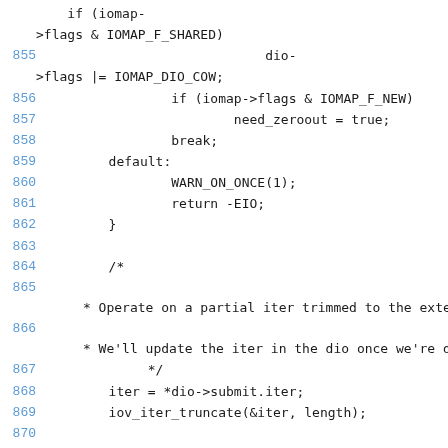Source code listing, lines 854-873, showing C code for DIO/IOMAP handling including flag checks, zeroout, break, default case, WARN_ON_ONCE, return -EIO, comment about partial iter trimming, iter assignment, iov_iter_truncate, nr_pages assignment and checks.